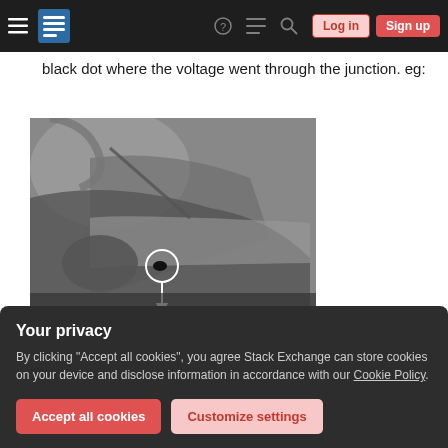Stack Exchange navigation bar with Log in and Sign up buttons
black dot where the voltage went through the junction. eg:
[Figure (photo): Grayscale electron microscope or close-up photograph of an electronic junction/component. A white circle highlights a black dot at the junction point, with a white arrow pointing to it.]
Your privacy
By clicking "Accept all cookies", you agree Stack Exchange can store cookies on your device and disclose information in accordance with our Cookie Policy.
Accept all cookies   Customize settings